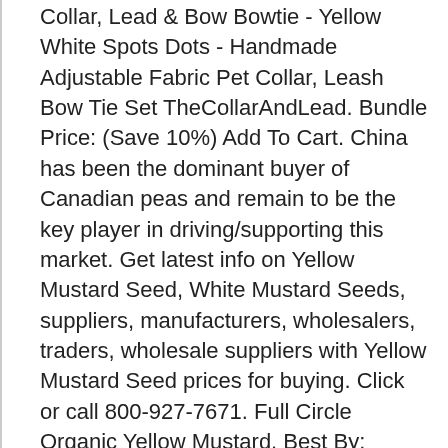Collar, Lead & Bow Bowtie - Yellow White Spots Dots - Handmade Adjustable Fabric Pet Collar, Leash Bow Tie Set TheCollarAndLead. Bundle Price: (Save 10%) Add To Cart. China has been the dominant buyer of Canadian peas and remain to be the key player in driving/supporting this market. Get latest info on Yellow Mustard Seed, White Mustard Seeds, suppliers, manufacturers, wholesalers, traders, wholesale suppliers with Yellow Mustard Seed prices for buying. Click or call 800-927-7671. Full Circle Organic Yellow Mustard. Best By: October 2021, when stored in a cool/dry area. You're seeing this ad based on the product's relevance to your search query. Spot Mustard Seed Steadies, Oil Eases; Buyers Cautious At Higher Prices . Statements regarding dietary supplements have not been evaluated by the FDA and are not intended to diagnose, treat, cure, or prevent any disease or health condition. Was $4.15